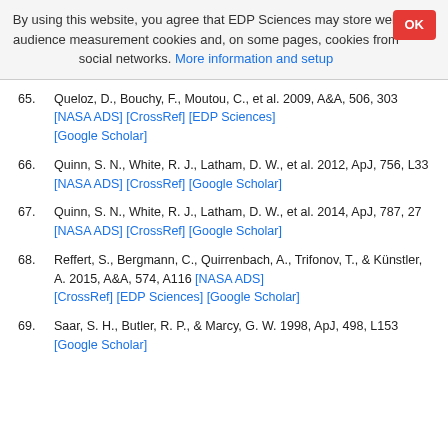By using this website, you agree that EDP Sciences may store web audience measurement cookies and, on some pages, cookies from social networks. More information and setup
65. Queloz, D., Bouchy, F., Moutou, C., et al. 2009, A&A, 506, 303 [NASA ADS] [CrossRef] [EDP Sciences] [Google Scholar]
66. Quinn, S. N., White, R. J., Latham, D. W., et al. 2012, ApJ, 756, L33 [NASA ADS] [CrossRef] [Google Scholar]
67. Quinn, S. N., White, R. J., Latham, D. W., et al. 2014, ApJ, 787, 27 [NASA ADS] [CrossRef] [Google Scholar]
68. Reffert, S., Bergmann, C., Quirrenbach, A., Trifonov, T., & Künstler, A. 2015, A&A, 574, A116 [NASA ADS] [CrossRef] [EDP Sciences] [Google Scholar]
69. Saar, S. H., Butler, R. P., & Marcy, G. W. 1998, ApJ, 498, L153 [Google Scholar]